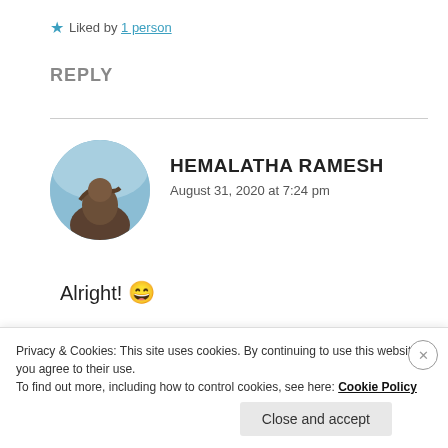Liked by 1 person
REPLY
[Figure (photo): Circular avatar photo of commenter Hemalatha Ramesh, showing a person against a blue sky]
HEMALATHA RAMESH
August 31, 2020 at 7:24 pm
Alright! 😄
Privacy & Cookies: This site uses cookies. By continuing to use this website, you agree to their use.
To find out more, including how to control cookies, see here: Cookie Policy
Close and accept